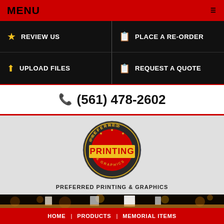MENU
REVIEW US
PLACE A RE-ORDER
UPLOAD FILES
REQUEST A QUOTE
(561) 478-2602
[Figure (logo): Preferred Printing & Graphics circular logo with red center and yellow banner reading PRINTING]
PREFERRED PRINTING & GRAPHICS
[Figure (photo): Banner showing various printed memorial items (booklets, programs) displayed on a wooden surface with bokeh background lighting]
HOME | PRODUCTS | MEMORIAL ITEMS